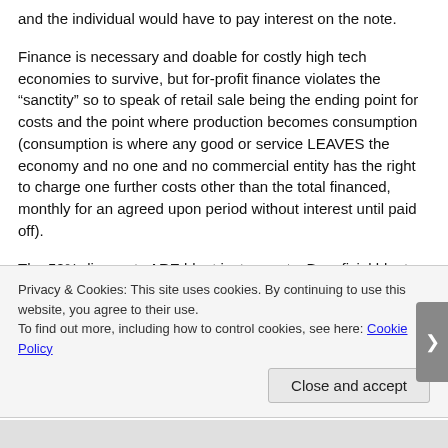and the individual would have to pay interest on the note.
Finance is necessary and doable for costly high tech economies to survive, but for-profit finance violates the “sanctity” so to speak of retail sale being the ending point for costs and the point where production becomes consumption (consumption is where any good or service LEAVES the economy and no one and no commercial entity has the right to charge one further costs other than the total financed, monthly for an agreed upon period without interest until paid off).
The 50% discounts ARE blunt instruments. Beneficial blunt instruments, and everything is accounted for. In the case of the second 50% discount at note signing, with the non-profit system the money is completely accounted for, but 50% of the
Privacy & Cookies: This site uses cookies. By continuing to use this website, you agree to their use.
To find out more, including how to control cookies, see here: Cookie Policy